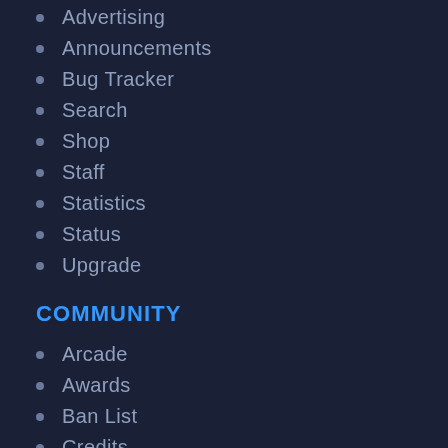Advertising
Announcements
Bug Tracker
Search
Shop
Staff
Statistics
Status
Upgrade
COMMUNITY
Arcade
Awards
Ban List
Credits
Discord
Groups
Member List
SUPPORT
Contact